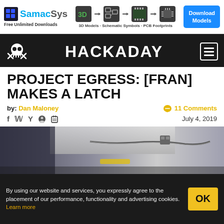[Figure (logo): SamacSys advertisement banner with logo, 3D to schematic to PCB icons, and Download Models button]
[Figure (logo): Hackaday website header with skull logo, HACKADAY title, and hamburger menu icon]
PROJECT EGRESS: [FRAN] MAKES A LATCH
by: Dan Maloney   11 Comments   July 4, 2019
[Figure (photo): Photograph of a mechanical latch device with chain, mounted to a surface, taken in a workshop setting]
By using our website and services, you expressly agree to the placement of our performance, functionality and advertising cookies. Learn more